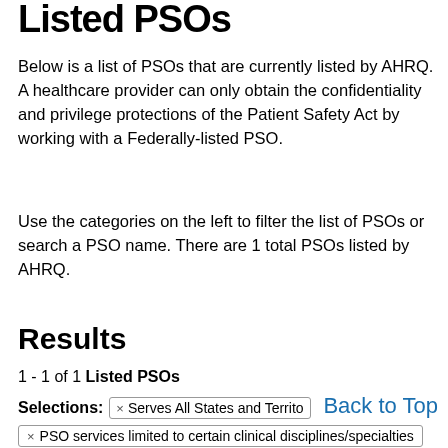Listed PSOs
Below is a list of PSOs that are currently listed by AHRQ. A healthcare provider can only obtain the confidentiality and privilege protections of the Patient Safety Act by working with a Federally-listed PSO.
Use the categories on the left to filter the list of PSOs or search a PSO name. There are 1 total PSOs listed by AHRQ.
Results
1 - 1 of 1 Listed PSOs
Selections: × Serves All States and Territories
× PSO services limited to certain clinical disciplines/specialties